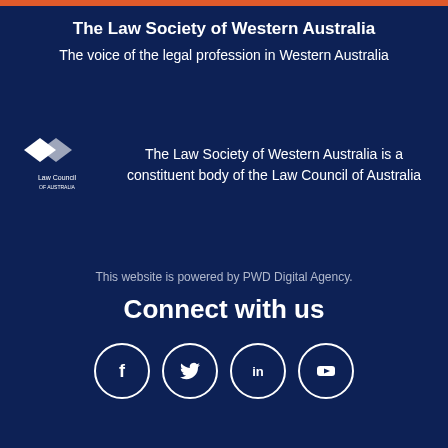The Law Society of Western Australia
The voice of the legal profession in Western Australia
[Figure (logo): Law Council of Australia logo with diamond shield icon and text]
The Law Society of Western Australia is a constituent body of the Law Council of Australia
This website is powered by PWD Digital Agency.
Connect with us
[Figure (infographic): Social media icons: Facebook, Twitter, LinkedIn, YouTube — white circle outlines on dark blue background]